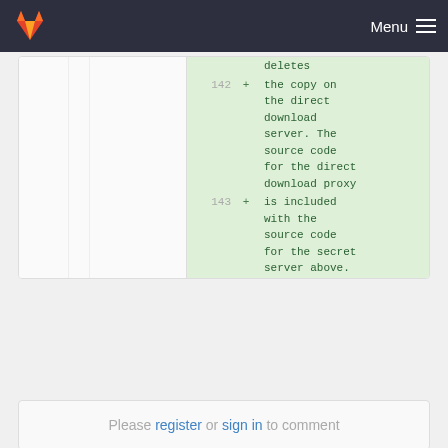Menu
[Figure (screenshot): GitLab diff view showing added lines 142-143 with code about direct download server and secret server source code]
Please register or sign in to comment